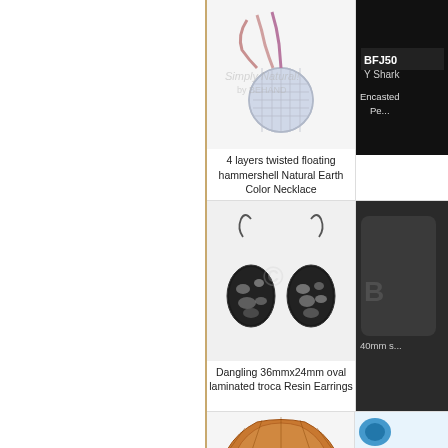[Figure (photo): 4 layers twisted floating hammershell Natural Earth Color Necklace product photo]
4 layers twisted floating hammershell Natural Earth Color Necklace
[Figure (photo): BFJ50 Y Shark - Encasted Pe... product photo on black background (partially visible)]
[Figure (photo): Dangling 36mmx24mm oval laminated troca Resin Earrings product photo]
Dangling 36mmx24mm oval laminated troca Resin Earrings
[Figure (photo): 40mm s... product photo on dark background (partially visible)]
[Figure (photo): Bottom partial product photo showing amber/brown fan-shaped shell item]
[Figure (photo): Bottom right partial product photo showing small blue item]